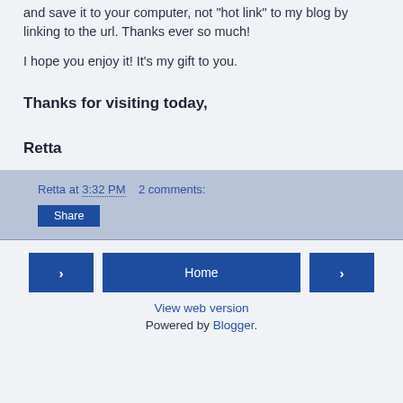and save it to your computer, not "hot link" to my blog by linking to the url. Thanks ever so much!
I hope you enjoy it! It's my gift to you.
Thanks for visiting today,
Retta
Retta at 3:32 PM   2 comments:
Share
Home
View web version
Powered by Blogger.